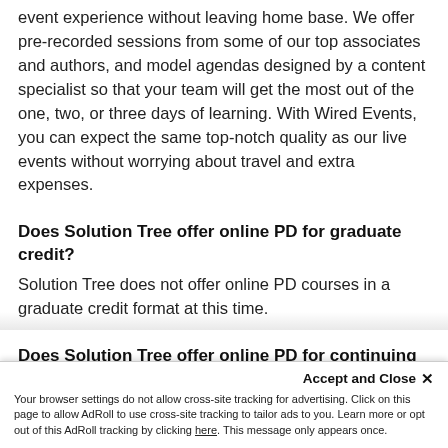event experience without leaving home base. We offer pre-recorded sessions from some of our top associates and authors, and model agendas designed by a content specialist so that your team will get the most out of the one, two, or three days of learning. With Wired Events, you can expect the same top-notch quality as our live events without worrying about travel and extra expenses.
Does Solution Tree offer online PD for graduate credit?
Solution Tree does not offer online PD courses in a graduate credit format at this time.
Does Solution Tree offer online PD for continuing education?
Yes, Solution Tree's PD Playlists, mini-courses, and Global
Accept and Close ✕
Your browser settings do not allow cross-site tracking for advertising. Click on this page to allow AdRoll to use cross-site tracking to tailor ads to you. Learn more or opt out of this AdRoll tracking by clicking here. This message only appears once.